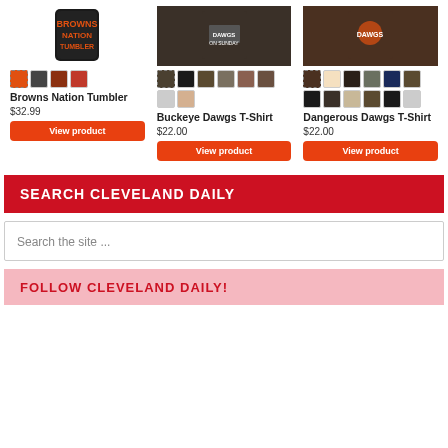[Figure (photo): Browns Nation Tumbler product image - black and orange tumbler]
[Figure (photo): Buckeye Dawgs T-Shirt product image - dark shirt with text]
[Figure (photo): Dangerous Dawgs T-Shirt product image - dark shirt]
Browns Nation Tumbler
$32.99
View product
Buckeye Dawgs T-Shirt
$22.00
View product
Dangerous Dawgs T-Shirt
$22.00
View product
SEARCH CLEVELAND DAILY
Search the site ...
FOLLOW CLEVELAND DAILY!